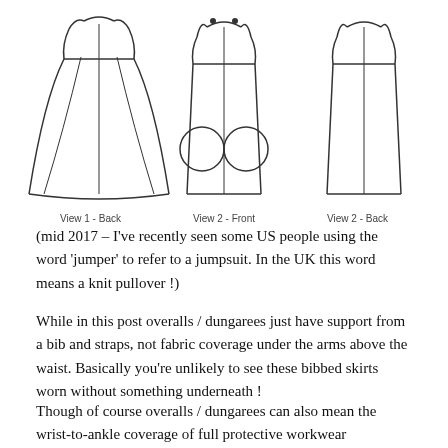[Figure (illustration): Three line-drawing illustrations of dresses/pinafores. Left: View 1 - Back (wide A-line silhouette with center seam and flared panels). Middle: View 2 - Front (straight pinafore with round pockets and button detail at neckline). Right: View 2 - Back (plain back of the same pinafore).]
View 1 - Back    View 2 - Front    View 2 - Back
(mid 2017 – I've recently seen some US people using the word 'jumper' to refer to a jumpsuit. In the UK this word means a knit pullover !)
While in this post overalls / dungarees just have support from a bib and straps, not fabric coverage under the arms above the waist. Basically you're unlikely to see these bibbed skirts worn without something underneath !
Though of course overalls / dungarees can also mean the wrist-to-ankle coverage of full protective workwear